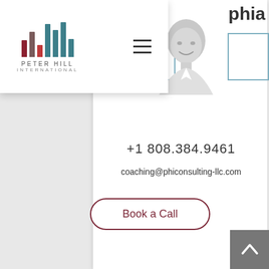[Figure (screenshot): Peter Hill International logo with bar chart icon, company name, and hamburger menu navigation overlay on white background]
[Figure (photo): Black and white headshot photo of a smiling person in a white collared shirt, partially visible]
phia
+1 808.384.9461
coaching@phiconsulting-llc.com
Book a Call